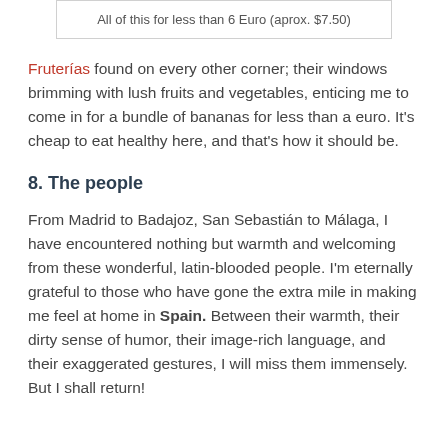All of this for less than 6 Euro (aprox. $7.50)
Fruterías found on every other corner; their windows brimming with lush fruits and vegetables, enticing me to come in for a bundle of bananas for less than a euro. It's cheap to eat healthy here, and that's how it should be.
8. The people
From Madrid to Badajoz, San Sebastián to Málaga, I have encountered nothing but warmth and welcoming from these wonderful, latin-blooded people. I'm eternally grateful to those who have gone the extra mile in making me feel at home in Spain. Between their warmth, their dirty sense of humor, their image-rich language, and their exaggerated gestures, I will miss them immensely. But I shall return!